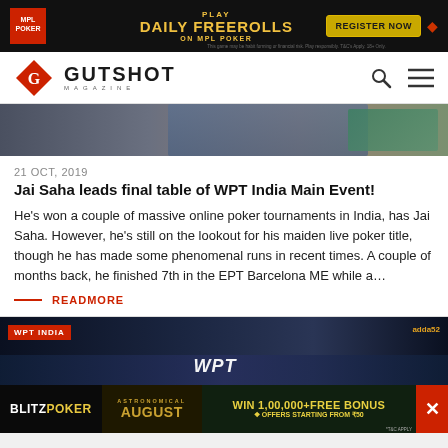[Figure (photo): MPL Poker banner ad: Play Daily Freerolls on MPL Poker, Register Now button]
GUTSHOT MAGAZINE
[Figure (photo): Hero image strip showing poker player's hands near chip stacks]
21 OCT, 2019
Jai Saha leads final table of WPT India Main Event!
He's won a couple of massive online poker tournaments in India, has Jai Saha. However, he's still on the lookout for his maiden live poker title, though he has made some phenomenal runs in recent times. A couple of months back, he finished 7th in the EPT Barcelona ME while a…
READMORE
[Figure (photo): WPT India banner image with venue lights and WPT logo, adda52 branding]
[Figure (photo): BlitzPoker ad: Astronomical August, Win 1,00,000 + Free Bonus, Offers starting from ₹50]